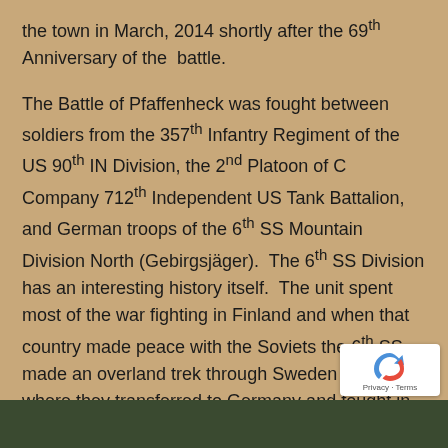the town in March, 2014 shortly after the 69th Anniversary of the  battle.

The Battle of Pfaffenheck was fought between soldiers from the 357th Infantry Regiment of the US 90th IN Division, the 2nd Platoon of C Company 712th Independent US Tank Battalion, and German troops of the 6th SS Mountain Division North (Gebirgsjäger).  The 6th SS Division has an interesting history itself.  The unit spent most of the war fighting in Finland and when that country made peace with the Soviets the 6th SS made an overland trek through Sweden to Norway where they transferred to Germany and fought in the Vosges Mountains of northern France over the winter.
[Figure (photo): Bottom strip showing a dark green/military scene, partially visible photo at bottom of page]